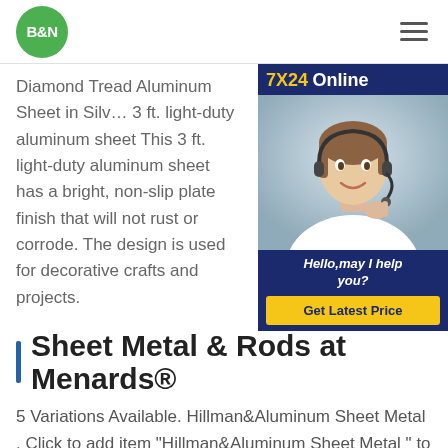[Figure (logo): B&N green circular logo in page header]
Diamond Tread Aluminum Sheet in Silv… 3 ft. light-duty aluminum sheet This 3 ft. light-duty aluminum sheet has a bright, non-slip plate finish that will not rust or corrode. The design is used for decorative crafts and projects.
[Figure (photo): 7X24 Online chat widget with a woman wearing a headset, text 'Hello, may I help you?' and a 'Get Latest Price' yellow button]
Sheet Metal & Rods at Menards®
5 Variations Available. Hillman&Aluminum Sheet Metal . Click to add item "Hillman&Aluminum Sheet Metal " to the compare list. Compare. Click to add item "Hillman&Aluminum Sheet Metal " to the